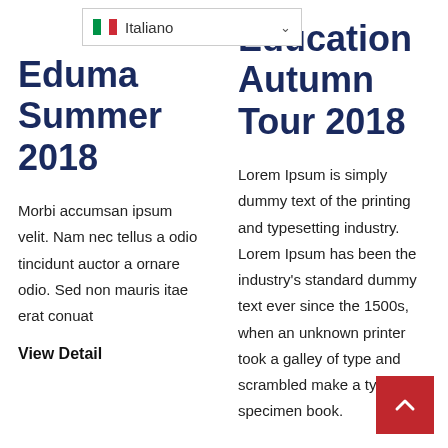[Figure (screenshot): Language selector dropdown showing Italian flag and 'Italiano' text with chevron]
Eduma Summer 2018
Morbi accumsan ipsum velit. Nam nec tellus a odio tincidunt auctor a ornare odio. Sed non mauris itae erat conuat
View Detail
Education Autumn Tour 2018
Lorem Ipsum is simply dummy text of the printing and typesetting industry. Lorem Ipsum has been the industry's standard dummy text ever since the 1500s, when an unknown printer took a galley of type and scrambled make a type specimen book.